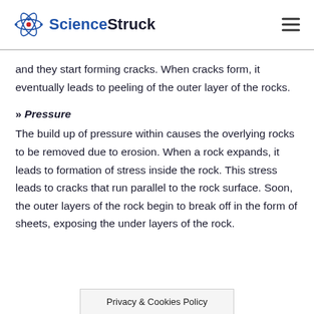ScienceStruck
and they start forming cracks. When cracks form, it eventually leads to peeling of the outer layer of the rocks.
» Pressure
The build up of pressure within causes the overlying rocks to be removed due to erosion. When a rock expands, it leads to formation of stress inside the rock. This stress leads to cracks that run parallel to the rock surface. Soon, the outer layers of the rock begin to break off in the form of sheets, exposing the under layers of the rock.
Privacy & Cookies Policy